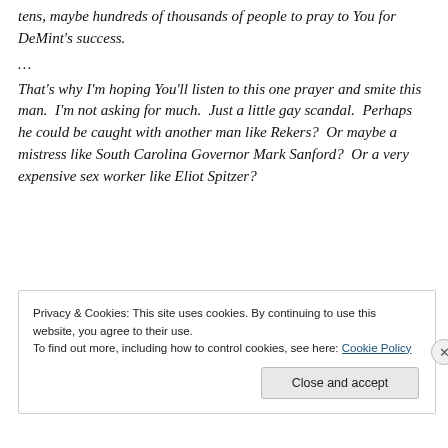tens, maybe hundreds of thousands of people to pray to You for DeMint's success.
...
That's why I'm hoping You'll listen to this one prayer and smite this man.  I'm not asking for much.  Just a little gay scandal.  Perhaps he could be caught with another man like Rekers?  Or maybe a mistress like South Carolina Governor Mark Sanford?  Or a very expensive sex worker like Eliot Spitzer?
Privacy & Cookies: This site uses cookies. By continuing to use this website, you agree to their use.
To find out more, including how to control cookies, see here: Cookie Policy